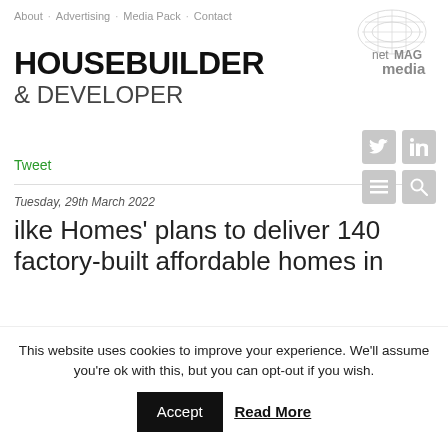About . Advertising . Media Pack . Contact
[Figure (logo): netMAG media logo with mesh/net graphic element in grey]
HOUSEBUILDER & DEVELOPER
[Figure (other): Social media icons: Twitter, LinkedIn, menu, search - grey rounded squares]
Tweet
Tuesday, 29th March 2022
ilke Homes' plans to deliver 140 factory-built affordable homes in
This website uses cookies to improve your experience. We'll assume you're ok with this, but you can opt-out if you wish.